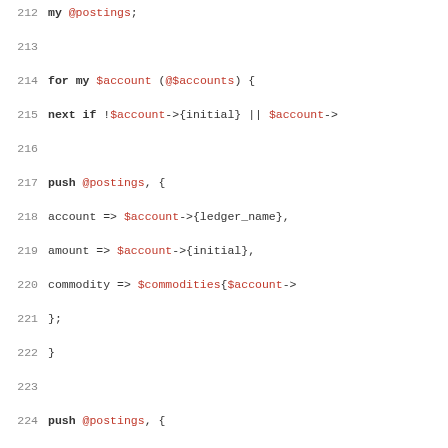[Figure (screenshot): Source code listing in Perl showing lines 212-243. Code includes variable declarations, for loops, push statements, and function calls related to account postings and transactions.]